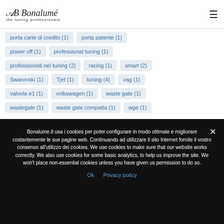AB Bonalume – the tuning professionals
porta carte di credito (1)
porta patente (1)
power off (1)
professional tuning (1)
professionisti nel tuning (2)
racing (1)
smart (2)
Swarovski (1)
Tjet (1)
tuning (4)
vag (1)
valvola e1 (1)
volkswagen (1)
waste gate (1)
wastegate (1)
waste gate compatta (1)
wge (1)
Bonalume.it usa i cookies per poter configurare in modo ottimale e migliorare costantemente le sue pagine web. Continuando ad utilizzare il sito Internet fornite il vostro consenso all'utilizzo dei cookies. We use cookies to make sure that our website works correctly. We also use cookies for some basic analytics, to help us improve the site. We won't place non-essential cookies unless you have given us permission to do so.
Ok  Privacy policy